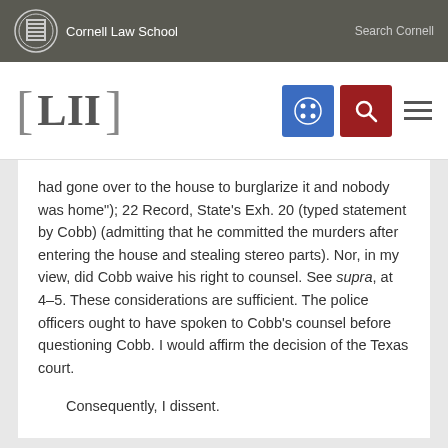Cornell Law School | Search Cornell
[Figure (logo): LII Legal Information Institute logo with Cornell Law School branding, navigation icons including a grid icon (blue) and search icon (red), and hamburger menu]
had gone over to the house to burglarize it and nobody was home"); 22 Record, State's Exh. 20 (typed statement by Cobb) (admitting that he committed the murders after entering the house and stealing stereo parts). Nor, in my view, did Cobb waive his right to counsel. See supra, at 4–5. These considerations are sufficient. The police officers ought to have spoken to Cobb's counsel before questioning Cobb. I would affirm the decision of the Texas court.
Consequently, I dissent.